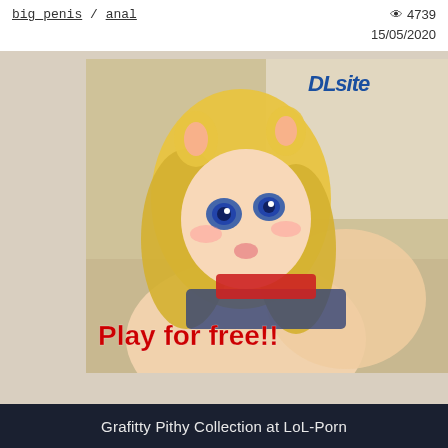big_penis / anal   👁 4739   15/05/2020
[Figure (illustration): Anime-style advertisement banner for DLsite with text 'Play for free!!' overlaid in red bold font]
Grafitty Pithy Collection at LoL-Porn